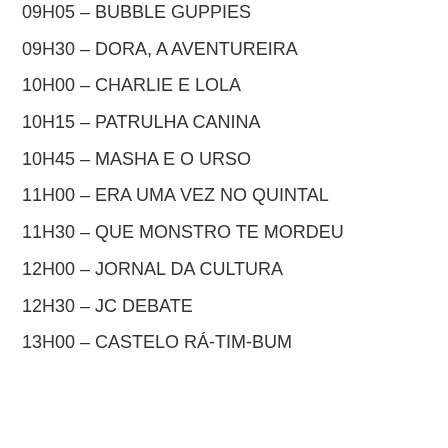09H05 – BUBBLE GUPPIES
09H30 – DORA, A AVENTUREIRA
10H00 – CHARLIE E LOLA
10H15 – PATRULHA CANINA
10H45 – MASHA E O URSO
11H00 – ERA UMA VEZ NO QUINTAL
11H30 – QUE MONSTRO TE MORDEU
12H00 – JORNAL DA CULTURA
12H30 – JC DEBATE
13H00 – CASTELO RÁ-TIM-BUM